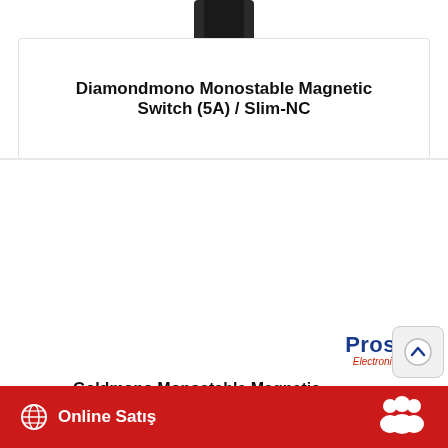[Figure (photo): Partial view of a product from the previous card, cropped at top]
Diamondmono Monostable Magnetic Switch (5A) / Slim-NC
[Figure (photo): Prosis Electronics & lift branded Goldmono Monostable Magnetic Switch — a black mounting bracket with a cylindrical sensor probe labeled Prosis NC]
Goldmono Monostable Magnetic
Online Satış